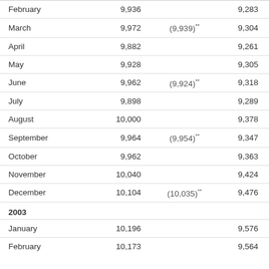| Month | Col2 | Col3 | Col4 |
| --- | --- | --- | --- |
| February | 9,936 |  | 9,283 |
| March | 9,972 | (9,939)** | 9,304 |
| April | 9,882 |  | 9,261 |
| May | 9,928 |  | 9,305 |
| June | 9,962 | (9,924)** | 9,318 |
| July | 9,898 |  | 9,289 |
| August | 10,000 |  | 9,378 |
| September | 9,964 | (9,954)** | 9,347 |
| October | 9,962 |  | 9,363 |
| November | 10,040 |  | 9,424 |
| December | 10,104 | (10,035)** | 9,476 |
| 2003 |  |  |  |
| January | 10,196 |  | 9,576 |
| February | 10,173 |  | 9,564 |